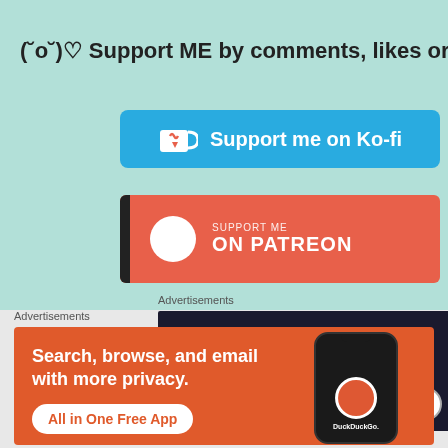( ˘︶˘ )♡ Support ME by comments, likes or
[Figure (infographic): Ko-fi support button — blue rounded rectangle with a cup icon and heart, text: Support me on Ko-fi]
[Figure (infographic): Patreon support button — salmon/coral colored rectangle with vertical black bar, white circle, text: SUPPORT ME ON PATREON]
Advertisements
[Figure (illustration): Sensei advertisement — dark navy background with circular logo and text 'sensei' and partial tagline 'launch your online']
Advertisements
[Figure (illustration): DuckDuckGo advertisement — orange background with text 'Search, browse, and email with more privacy. All in One Free App' and phone mockup showing DuckDuckGo logo]